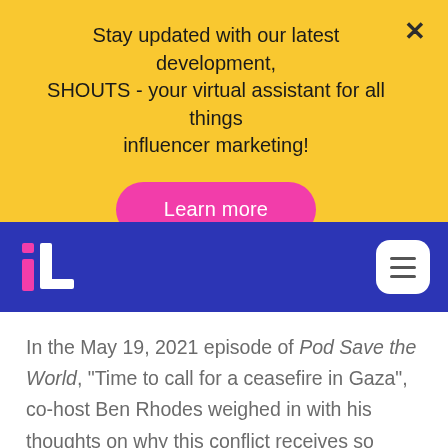Stay updated with our latest development, SHOUTS - your virtual assistant for all things influencer marketing!
Learn more
[Figure (logo): Influencer Lab logo — pink and blue stylized 'IL' letters on blue navbar]
In the May 19, 2021 episode of Pod Save the World, "Time to call for a ceasefire in Gaza", co-host Ben Rhodes weighed in with his thoughts on why this conflict receives so much coverage, specifically from voices in the US: